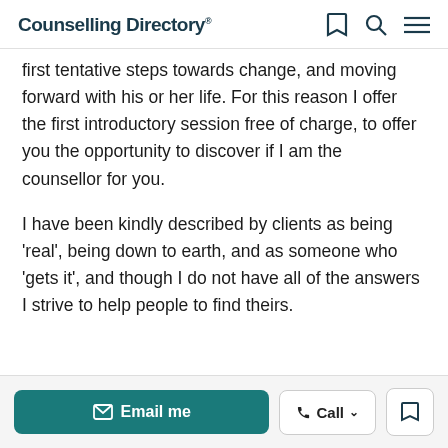Counselling Directory
first tentative steps towards change, and moving forward with his or her life. For this reason I offer the first introductory session free of charge, to offer you the opportunity to discover if I am the counsellor for you.
I have been kindly described by clients as being 'real', being down to earth, and as someone who 'gets it', and though I do not have all of the answers I strive to help people to find theirs.